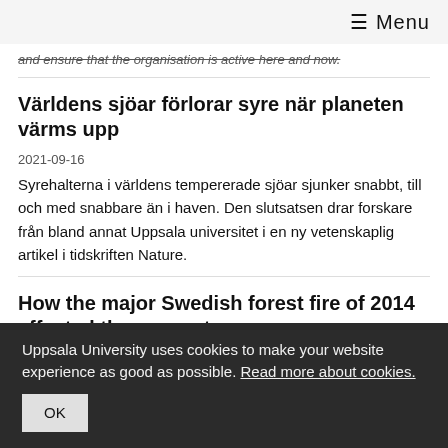≡ Menu
and ensure that the organisation is active here and now.
Världens sjöar förlorar syre när planeten värms upp
2021-09-16
Syrehalterna i världens tempererade sjöar sjunker snabbt, till och med snabbare än i haven. Den slutsatsen drar forskare från bland annat Uppsala universitet i en ny vetenskaplig artikel i tidskriften Nature.
How the major Swedish forest fire of 2014 affected the ecosystem
Uppsala University uses cookies to make your website experience as good as possible. Read more about cookies.